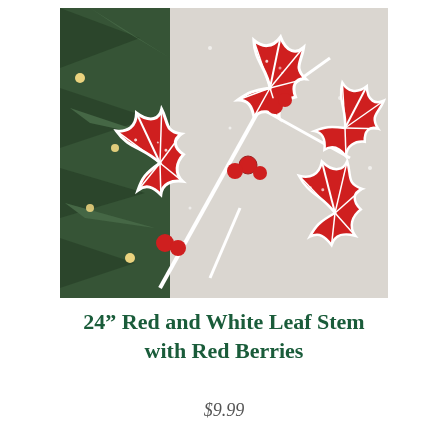[Figure (photo): A photo of red and white decorative holly leaf stems with red berries, displayed on a Christmas tree with green pine branches and warm white lights in the background.]
24" Red and White Leaf Stem with Red Berries
$9.99